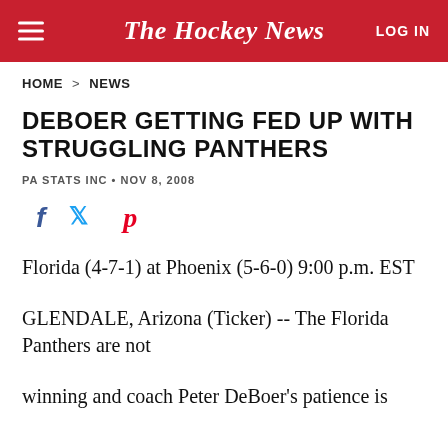The Hockey News
HOME > NEWS
DEBOER GETTING FED UP WITH STRUGGLING PANTHERS
PA STATS INC • NOV 8, 2008
[Figure (other): Social share icons: Facebook, Twitter, Pinterest]
Florida (4-7-1) at Phoenix (5-6-0) 9:00 p.m. EST
GLENDALE, Arizona (Ticker) -- The Florida Panthers are not
winning and coach Peter DeBoer's patience is